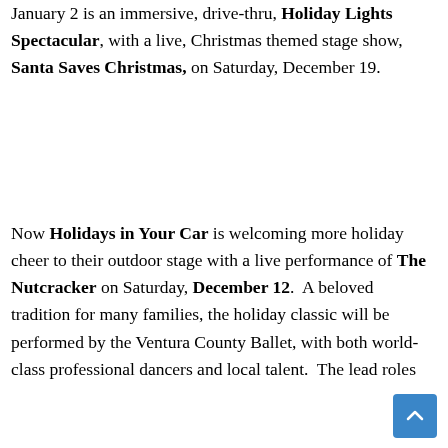January 2 is an immersive, drive-thru, Holiday Lights Spectacular, with a live, Christmas themed stage show, Santa Saves Christmas, on Saturday, December 19.
Now Holidays in Your Car is welcoming more holiday cheer to their outdoor stage with a live performance of The Nutcracker on Saturday, December 12.  A beloved tradition for many families, the holiday classic will be performed by the Ventura County Ballet, with both world-class professional dancers and local talent.  The lead roles